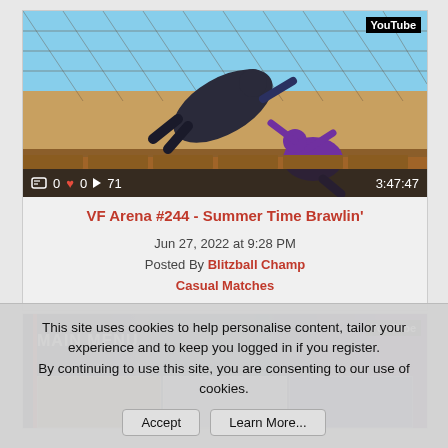[Figure (screenshot): YouTube video thumbnail showing fighting game scene with two characters, one being thrown, in an outdoor arena with chain-link fence background. Bottom bar shows stats: comment icon 0, heart 0, play 71, duration 3:47:47. YouTube badge in top right.]
VF Arena #244 - Summer Time Brawlin'
Jun 27, 2022 at 9:28 PM
Posted By Blitzball Champ
Casual Matches
[Figure (screenshot): YouTube video thumbnail showing a fighting game main menu screen with 'MAIN MENU' text, character select panels at bottom, red vertical stripe on left, YouTube badge top right.]
This site uses cookies to help personalise content, tailor your experience and to keep you logged in if you register.
By continuing to use this site, you are consenting to our use of cookies.
Accept    Learn More...